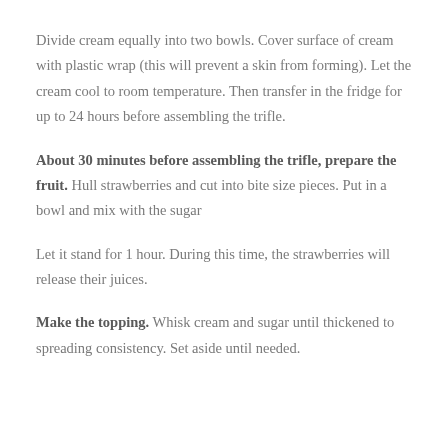Divide cream equally into two bowls. Cover surface of cream with plastic wrap (this will prevent a skin from forming). Let the cream cool to room temperature. Then transfer in the fridge for up to 24 hours before assembling the trifle.
About 30 minutes before assembling the trifle, prepare the fruit. Hull strawberries and cut into bite size pieces. Put in a bowl and mix with the sugar
Let it stand for 1 hour. During this time, the strawberries will release their juices.
Make the topping. Whisk cream and sugar until thickened to spreading consistency. Set aside until needed.